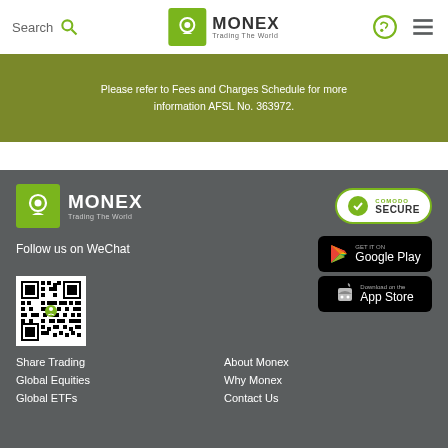Search  MONEX Trading The World
Please refer to Fees and Charges Schedule for more information AFSL No. 363972.
[Figure (logo): Monex Trading The World footer logo]
[Figure (logo): Comodo Secure badge]
Follow us on WeChat
[Figure (logo): Google Play store badge]
[Figure (logo): Apple App Store badge]
[Figure (other): QR code for WeChat]
Share Trading
About Monex
Global Equities
Why Monex
Global ETFs
Contact Us